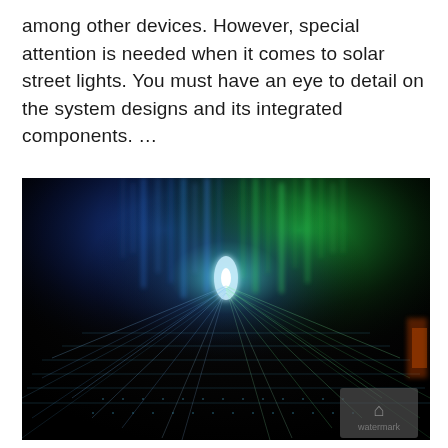among other devices. However, special attention is needed when it comes to solar street lights. You must have an eye to detail on the system designs and its integrated components. ...
[Figure (photo): Abstract technology/circuit board photo with glowing blue and green light streaks radiating from a central point against a dark background, resembling a bird or eagle shape made of circuit board light trails. A small grey watermark icon appears in the bottom right corner.]